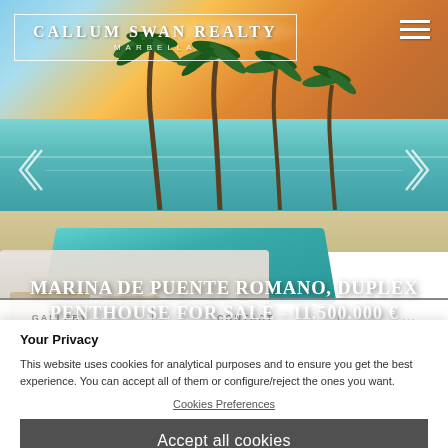CALLUM SWAN REALTY MARBELLA
[Figure (photo): Luxury beachfront property with pool terrace, palm trees, and ocean/sunset view in Marbella]
MARINA DE PUENTE ROMANO, DUPLEX PENTHOUSE FOR SALE - 11.500.000 €
GALLERY   CONTACT   ...
Your Privacy
This website uses cookies for analytical purposes and to ensure you get the best experience. You can accept all of them or configure/reject the ones you want.
Cookies Preferences
Accept all cookies
SOUTH